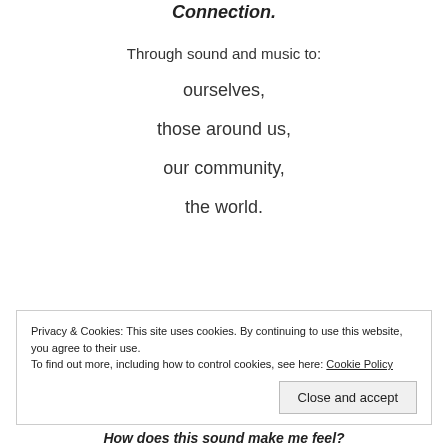Connection.
Through sound and music to:
ourselves,
those around us,
our community,
the world.
Privacy & Cookies: This site uses cookies. By continuing to use this website, you agree to their use.
To find out more, including how to control cookies, see here: Cookie Policy
Close and accept
How does this sound make me feel?